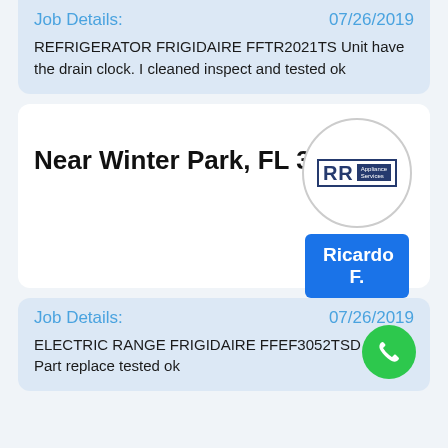Job Details: 07/26/2019
REFRIGERATOR FRIGIDAIRE FFTR2021TS Unit have the drain clock. I cleaned inspect and tested ok
Near Winter Park, FL 32789
[Figure (logo): RR Appliance Services logo inside a circle, with name badge 'Ricardo F.' below]
Job Details: 07/26/2019
ELECTRIC RANGE FRIGIDAIRE FFEF3052TSD Part replace tested ok